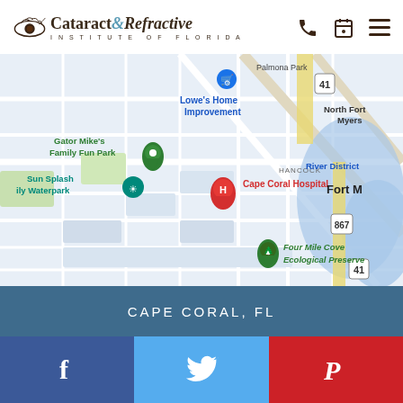[Figure (logo): Cataract & Refractive Institute of Florida logo with stylized eye graphic]
[Figure (map): Google Maps view of Cape Coral, FL area showing Cape Coral Hospital, Gator Mike's Family Fun Park, Sun Splash Family Waterpark, Lowe's Home Improvement, Four Mile Cove Ecological Preserve, River District, North Fort Myers, and Fort Myers areas]
CAPE CORAL, FL
[Figure (infographic): Social media icons bar: Facebook (blue), Twitter (light blue), Pinterest (red)]